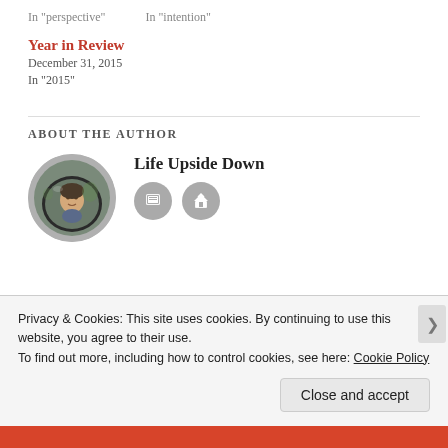In "perspective"
In "intention"
Year in Review
December 31, 2015
In "2015"
ABOUT THE AUTHOR
[Figure (photo): Circular author avatar photo showing a child reflected in a car mirror]
Life Upside Down
Privacy & Cookies: This site uses cookies. By continuing to use this website, you agree to their use.
To find out more, including how to control cookies, see here: Cookie Policy
Close and accept